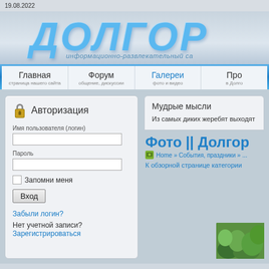19.08.2022
[Figure (screenshot): Website logo with large Cyrillic text ДОЛГОР in blue italic style, subtitle: информационно-развлекательный са]
Главная — страница нашего сайта
Форум — общение, дискуссии
Галереи — фото и видео
Про... — в Долго...
Авторизация
Имя пользователя (логин)
Пароль
Запомни меня
Вход
Забыли логин?
Нет учетной записи?
Зарегистрироваться
Мудрые мысли
Из самых диких жеребят выходят...
Фото || Долгор...
Home » События, праздники » ...
К обзорной странице категории
[Figure (photo): Green foliage photo thumbnail in bottom right corner]